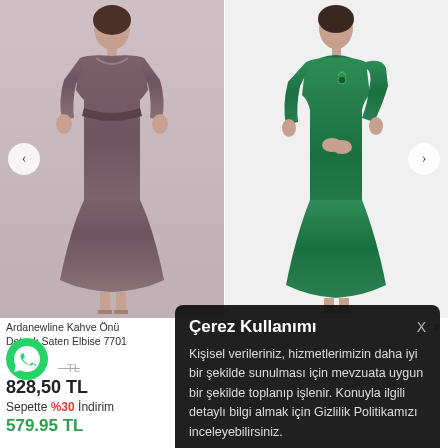[Figure (photo): Two fashion product photos side by side: left shows a woman wearing a brown/mauve long-sleeve satin dress on grey background; right shows a woman wearing a green long-sleeve dress on white background.]
Ardanewline Kahve Önü Detaylı Saten Elbise 7701
828,50 TL
Sepette %30 İndirim
579.95 TL
Çerez Kullanımı
Kişisel verileriniz, hizmetlerimizin daha iyi bir şekilde sunulması için mevzuata uygun bir şekilde toplanıp işlenir. Konuyla ilgili detaylı bilgi almak için Gizlilik Politikamızı inceleyebilirsiniz.